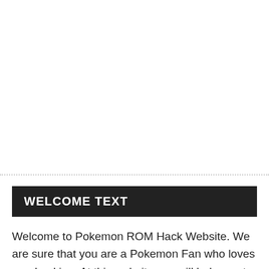WELCOME TEXT
Welcome to Pokemon ROM Hack Website. We are sure that you are a Pokemon Fan who loves rom hacking. At this website, we will help you to have your own hack with free tools, guides and game examples (informations,